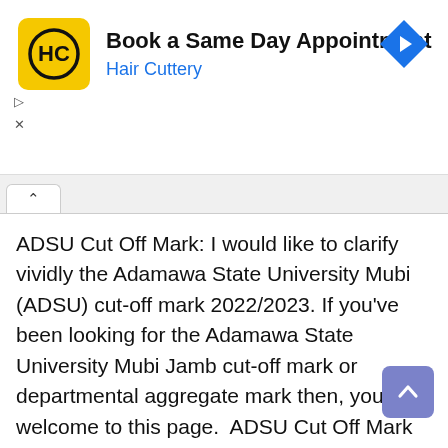[Figure (screenshot): Hair Cuttery advertisement banner: yellow square logo with 'HC' monogram, text 'Book a Same Day Appointment' and 'Hair Cuttery' in blue, blue diamond arrow icon on right]
ADSU Cut Off Mark: I would like to clarify vividly the Adamawa State University Mubi (ADSU) cut-off mark 2022/2023. If you've been looking for the Adamawa State University Mubi Jamb cut-off mark or departmental aggregate mark then, you are welcome to this page.  ADSU Cut Off Mark